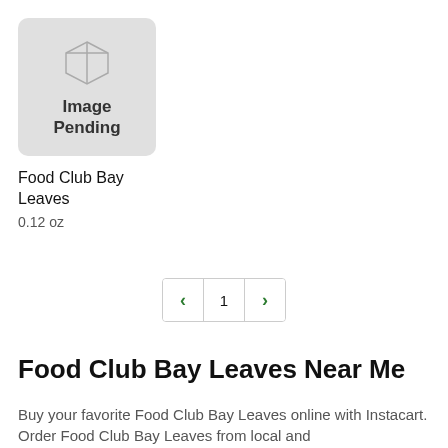[Figure (illustration): Product placeholder image with a 3D box outline icon and text 'Image Pending' on a light gray rounded rectangle background]
Food Club Bay Leaves
0.12 oz
< 1 >
Food Club Bay Leaves Near Me
Buy your favorite Food Club Bay Leaves online with Instacart. Order Food Club Bay Leaves from local and